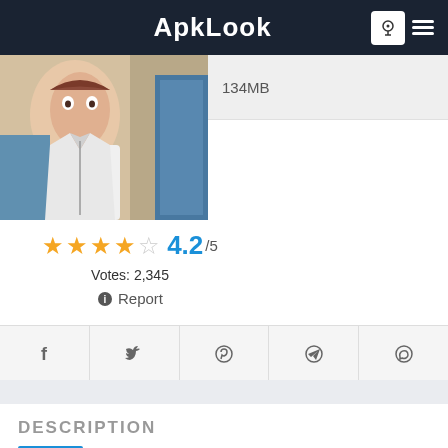ApkLook
[Figure (screenshot): App screenshot showing anime-style character artwork]
134MB
4.2/5
Votes: 2,345
Report
[Figure (infographic): Social sharing buttons: Facebook, Twitter, Pinterest, Telegram, WhatsApp]
DESCRIPTION